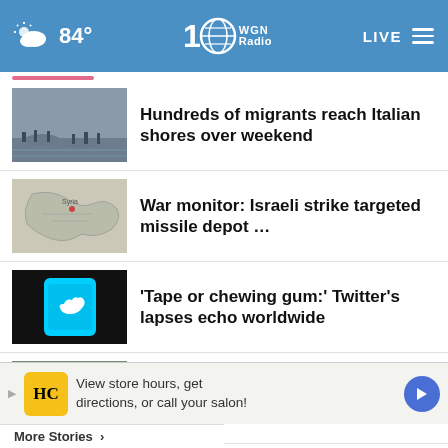84° WGN Radio — LIVE
Hundreds of migrants reach Italian shores over weekend
War monitor: Israeli strike targeted missile depot …
'Tape or chewing gum:' Twitter's lapses echo worldwide
Mexico's president revived dangerous form of coal …
Quake-hit Mexico church with iconic Virgin image …
View store hours, get directions, or call your salon!
More Stories >